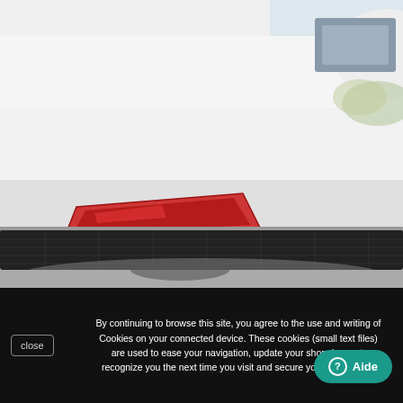[Figure (photo): Close-up photograph of the rear bumper of a white car, showing a red reflector/tail light and a black mesh diffuser at the bottom of the bumper. The background shows a light sky and some greenery.]
By continuing to browse this site, you agree to the use and writing of Cookies on your connected device. These cookies (small text files) are used to ease your navigation, update your shopping cart, recognize you the next time you visit and secure your connection.